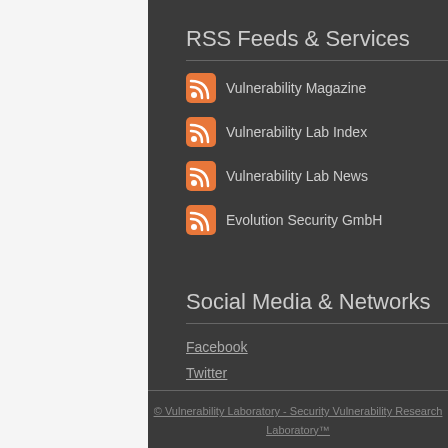RSS Feeds & Services
Vulnerability Magazine
Vulnerability Lab Index
Vulnerability Lab News
Evolution Security GmbH
Social Media & Networks
Facebook
Twitter
LinkedIn
YouTube
Flickr
© Vulnerability Laboratory - Security Vulnerability Research Laboratory™